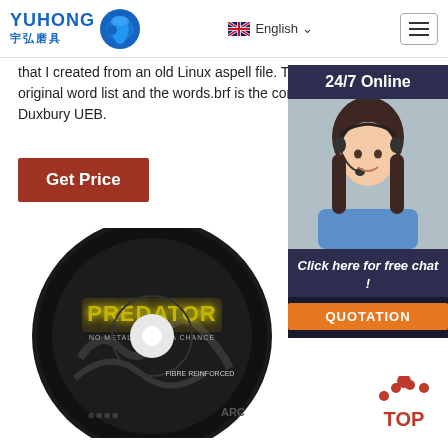YUHONG 宇弘磨具 | English
that I created from an old Linux aspell file. The words.txt is the original word list and the words.brf is the converted file from Duxbury UEB.
Get Price
[Figure (photo): Customer service representative with headset, with '24/7 Online' header, 'Click here for free chat!' text and 'QUOTATION' button]
[Figure (photo): Predator branded cutting disc labeled 'No Metal Stands A Chance' by ARC]
TOP